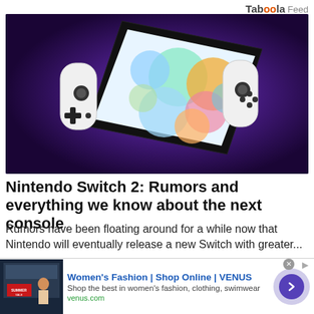Taboola Feed
[Figure (photo): Nintendo Switch 2 concept render showing a gaming console with white Joy-Con controllers attached to a large angled screen displaying colorful bokeh lights, against a purple background]
Nintendo Switch 2: Rumors and everything we know about the next console
Rumors have been floating around for a while now that Nintendo will eventually release a new Switch with greater...
[Figure (screenshot): Advertisement banner for Women's Fashion | Shop Online | VENUS. Shop the best in women's fashion, clothing, swimwear. venus.com]